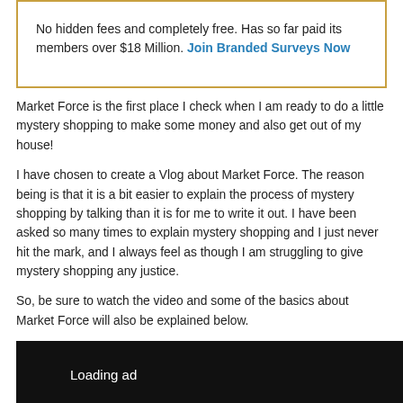No hidden fees and completely free. Has so far paid its members over $18 Million. Join Branded Surveys Now
Market Force is the first place I check when I am ready to do a little mystery shopping to make some money and also get out of my house!
I have chosen to create a Vlog about Market Force. The reason being is that it is a bit easier to explain the process of mystery shopping by talking than it is for me to write it out. I have been asked so many times to explain mystery shopping and I just never hit the mark, and I always feel as though I am struggling to give mystery shopping any justice.
So, be sure to watch the video and some of the basics about Market Force will also be explained below.
[Figure (screenshot): Loading ad placeholder video area with black top bar and gray bottom section with play button]